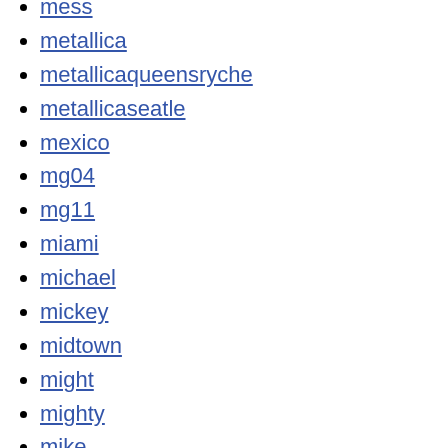mess
metallica
metallicaqueensryche
metallicaseatle
mexico
mg04
mg11
miami
michael
mickey
midtown
might
mighty
mike
miku
miles
miley
miller
ministry
mint
mint'95
misfits
missoula
mo-jo
moby
modern
modest
moe-